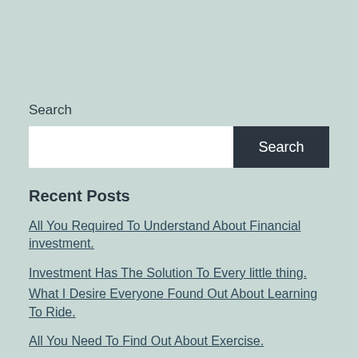Search
[Figure (screenshot): Search input box with a dark 'Search' button on the right]
Recent Posts
All You Required To Understand About Financial investment.
Investment Has The Solution To Every little thing.
What I Desire Everyone Found Out About Learning To Ride.
All You Need To Find Out About Exercise.